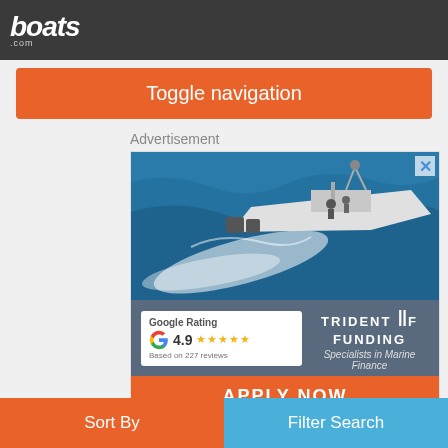boats.com
Toggle navigation
Advertisement
[Figure (photo): Speed boat on blue ocean water, white hull, with crew, creating a large wake. Trident Funding advertisement with Google Rating 4.9 stars based on 227 reviews. APPLY NOW button in orange.]
Sort By
Filter Search